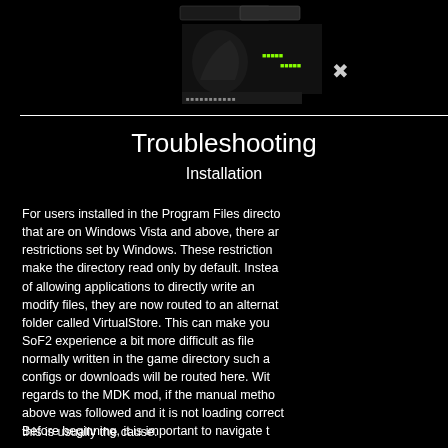[Figure (screenshot): Game header image with dark background showing a game logo, character art, and navigation elements on black background]
Troubleshooting
Installation
For users installed in the Program Files directory that are on Windows Vista and above, there are restrictions set by Windows. These restrictions make the directory read only by default. Instead of allowing applications to directly write and modify files, they are now routed to an alternate folder called VirtualStore. This can make your SoF2 experience a bit more difficult as files normally written in the game directory such as configs or downloads will be routed here. With regards to the MDK mod, if the manual method above was followed and it is not loading correctly, this is usually the cause.
Before beginning, it is important to navigate t